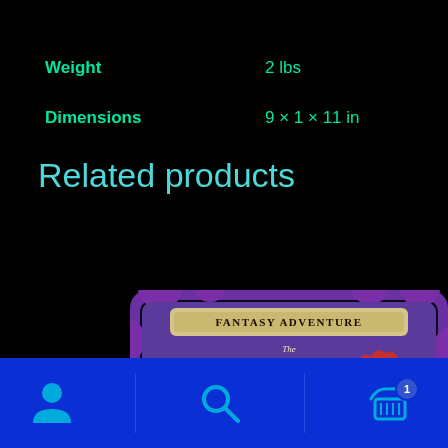| Weight | 2 lbs |
| Dimensions | 9 × 1 × 11 in |
Related products
[Figure (illustration): Book product card with purple decorative border frame. Shows a fantasy adventure book titled 'The Phantastic Zoo' with colorful illustration of a phoenix and dragon creatures on a purple/blue background. Text 'FANTASY ADVENTURE' appears at the top of the card.]
Navigation bar with person icon, search icon, and shopping cart icon with badge showing 1 item